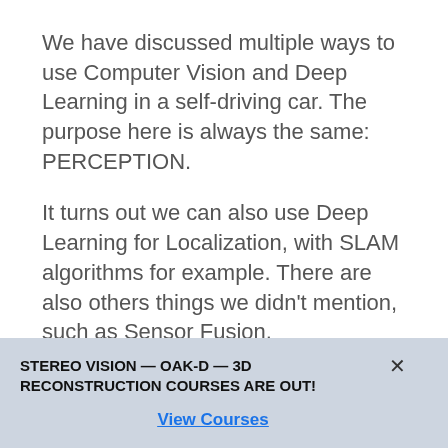We have discussed multiple ways to use Computer Vision and Deep Learning in a self-driving car. The purpose here is always the same: PERCEPTION.
It turns out we can also use Deep Learning for Localization, with SLAM algorithms for example. There are also others things we didn't mention, such as Sensor Fusion.
There is a huge need for engineers to understand how to code state of the art
STEREO VISION — OAK-D — 3D RECONSTRUCTION COURSES ARE OUT!
View Courses